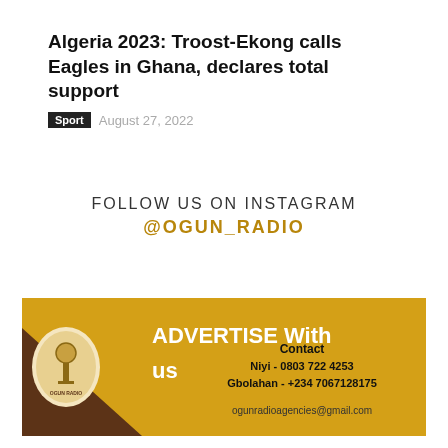Algeria 2023: Troost-Ekong calls Eagles in Ghana, declares total support
Sport  August 27, 2022
FOLLOW US ON INSTAGRAM
@OGUN_RADIO
[Figure (infographic): Ogun Radio advertisement banner with logo, 'ADVERTISE With us' text, contact details: Niyi - 0803 722 4253, Gbolahan - +234 7067128175, ogunradioagencies@gmail.com]